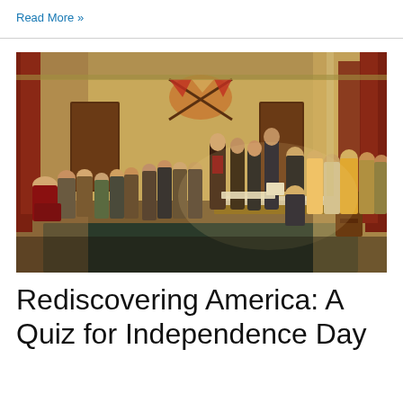Read More »
[Figure (illustration): Historical oil painting depicting the presentation of the Declaration of Independence, showing the Founding Fathers gathered in a large formal room with columns and draped flags, delegates seated and standing around a central table.]
Rediscovering America: A Quiz for Independence Day